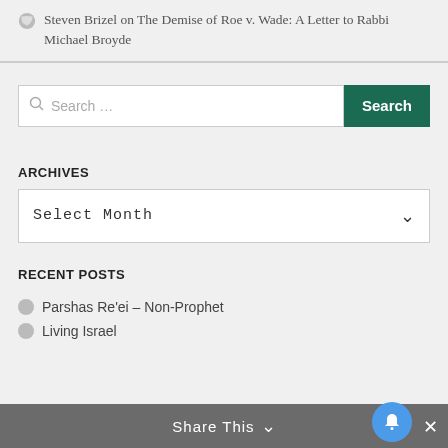Steven Brizel on The Demise of Roe v. Wade: A Letter to Rabbi Michael Broyde
Search ...
ARCHIVES
Select Month
RECENT POSTS
Parshas Re'ei – Non-Prophet
Living Israel
Share This